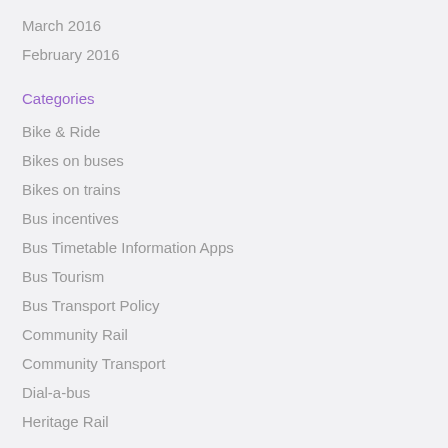March 2016
February 2016
Categories
Bike & Ride
Bikes on buses
Bikes on trains
Bus incentives
Bus Timetable Information Apps
Bus Tourism
Bus Transport Policy
Community Rail
Community Transport
Dial-a-bus
Heritage Rail